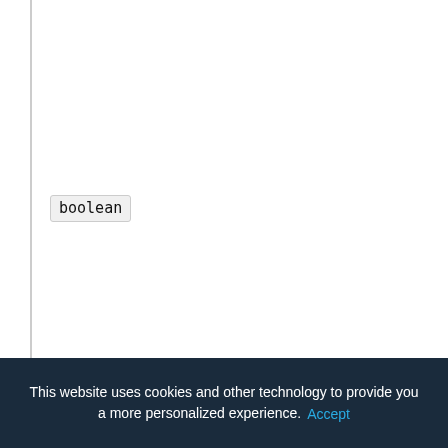boolean
Property<JavaLauncher>
int
This website uses cookies and other technology to provide you a more personalized experience. Accept